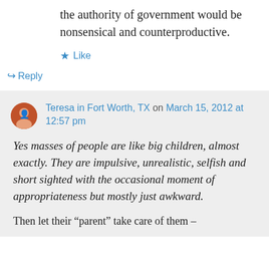the authority of government would be nonsensical and counterproductive.
★ Like
↪ Reply
Teresa in Fort Worth, TX on March 15, 2012 at 12:57 pm
Yes masses of people are like big children, almost exactly. They are impulsive, unrealistic, selfish and short sighted with the occasional moment of appropriateness but mostly just awkward.
Then let their “parent” take care of them –